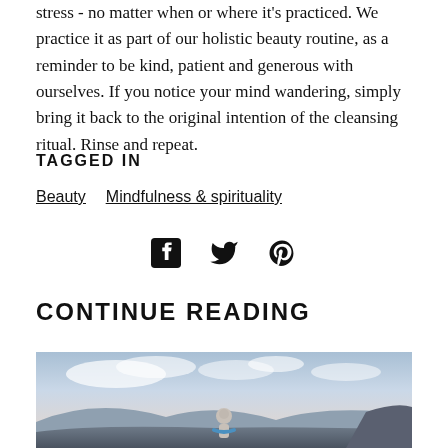stress - no matter when or where it's practiced. We practice it as part of our holistic beauty routine, as a reminder to be kind, patient and generous with ourselves. If you notice your mind wandering, simply bring it back to the original intention of the cleansing ritual. Rinse and repeat.
TAGGED IN
Beauty    Mindfulness & spirituality
[Figure (other): Social media sharing icons: Facebook, Twitter, Pinterest]
CONTINUE READING
[Figure (photo): Person sitting in meditation pose on a rock overlooking a scenic landscape with mountains and sky at dusk]